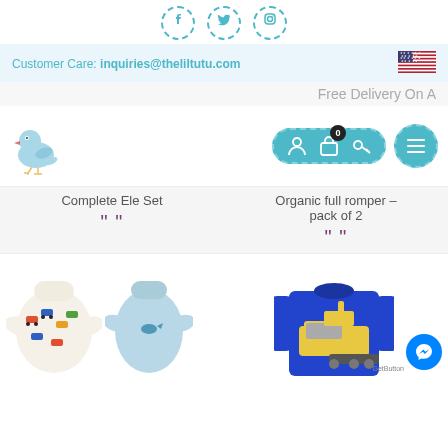Social icons: Facebook, Twitter, Instagram
Customer Care: inquiries@theliltutu.com
Free Delivery On A
[Figure (screenshot): Bird logo and navigation bar with user, cart (0), key icons in teal pill and hamburger menu button]
Complete Ele Set
Organic full romper – pack of 2
[Figure (photo): Children's clothing products: two rompers with car print and plain light blue, and a blue sweater with excavator graphic]
[Figure (logo): GetButton messenger chat button]